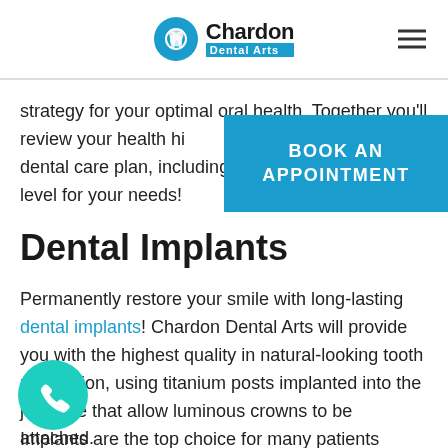Chardon Dental Arts
strategy for your optimal oral health. Together you'll review your health history to form a customized dental care plan, including the optimized sedation level for your needs!
[Figure (other): Blue 'BOOK AN APPOINTMENT' button/banner on the right side]
Dental Implants
Permanently restore your smile with long-lasting dental implants! Chardon Dental Arts will provide you with the highest quality in natural-looking tooth restoration, using titanium posts implanted into the jawbone that allow luminous crowns to be attached.
Implants are the top choice for many patients
[Figure (other): Teal circular phone/call button at bottom left]